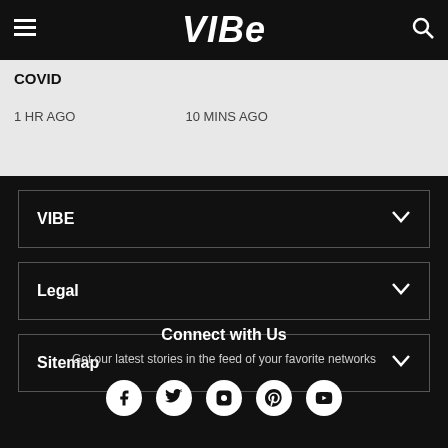VIBE
COVID
1 HR AGO    10 MINS AGO
VIBE ∨
Legal ∨
Sitemap ∨
Connect with Us
Get our latest stories in the feed of your favorite networks